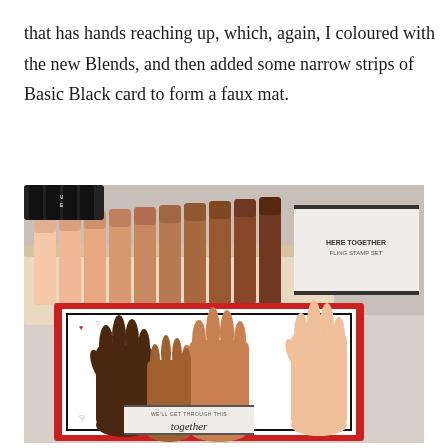that has hands reaching up, which, again, I coloured with the new Blends, and then added some narrow strips of Basic Black card to form a faux mat.
[Figure (photo): Photo showing a set of skin-tone Stampin' Blends alcohol markers arranged in a wooden tray alongside a 'Here Together' stamp set box, and a handmade card featuring diverse hands reaching up with the sentiment 'We'll get through this together' surrounded by hearts on a red-bordered white card background.]